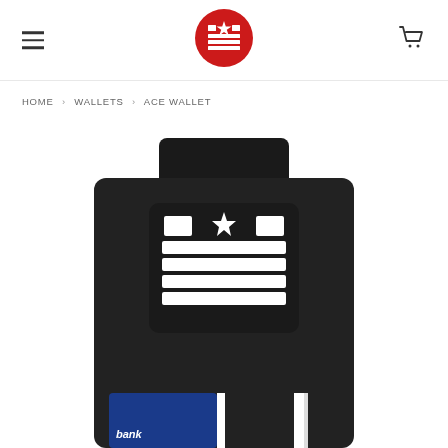[Figure (logo): Red circular logo with white DC flag stripes and stars motif in the center of the header]
HOME › WALLETS › ACE WALLET
[Figure (photo): Product photo of the Ace Wallet — a black slim card wallet with DC flag logo embossed, shown from the front with a bank card partially visible at the bottom]